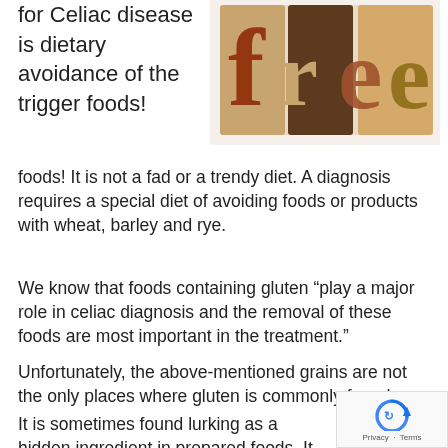for Celiac disease is dietary avoidance of the trigger foods! It is not a fad or a trendy diet. A diagnosis requires a special diet of avoiding foods or products with wheat, barley and rye.
[Figure (photo): Wooden letterpress blocks spelling 'free' in colorful retro typography on white background]
We know that foods containing gluten “play a major role in celiac diagnosis and the removal of these foods are most important in the treatment.”
Unfortunately, the above-mentioned grains are not the only places where gluten is commonly found.
It is sometimes found lurking as a hidden ingredient in prepared foods. It can be used as a binder, found in dietary supplements, cosmetics, and medications.